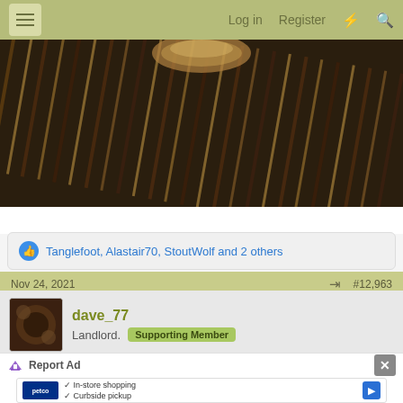☰  Log in  Register  ⚡  🔍
[Figure (photo): Close-up photo of wooden slats/barrel staves with a glass or metal rim visible at the top, dark warm-toned image suggesting a beer barrel or cask]
👍 Tanglefoot, Alastair70, StoutWolf and 2 others
Nov 24, 2021    #12,963
dave_77
Landlord.  Supporting Member
Nice clean lager, has a light bready malt flavours